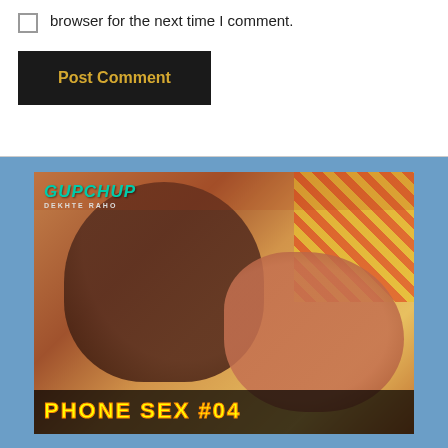browser for the next time I comment.
Post Comment
[Figure (photo): Thumbnail image for a video titled 'Phone Sex #04' with the Gupchup streaming platform logo in the top left corner.]